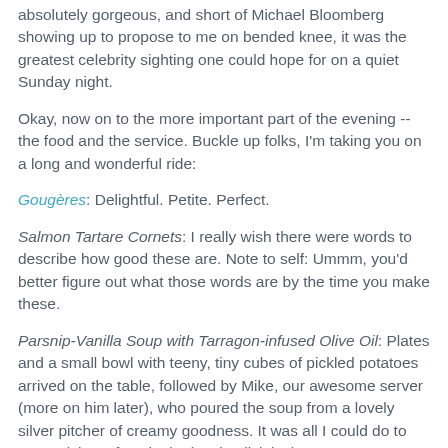absolutely gorgeous, and short of Michael Bloomberg showing up to propose to me on bended knee, it was the greatest celebrity sighting one could hope for on a quiet Sunday night.
Okay, now on to the more important part of the evening -- the food and the service. Buckle up folks, I'm taking you on a long and wonderful ride:
Gougères: Delightful. Petite. Perfect.
Salmon Tartare Cornets: I really wish there were words to describe how good these are. Note to self: Ummm, you'd better figure out what those words are by the time you make these.
Parsnip-Vanilla Soup with Tarragon-infused Olive Oil: Plates and a small bowl with teeny, tiny cubes of pickled potatoes arrived on the table, followed by Mike, our awesome server (more on him later), who poured the soup from a lovely silver pitcher of creamy goodness. It was all I could do to NOT stick my face in the bowl to lick it clean. I am not kidding you